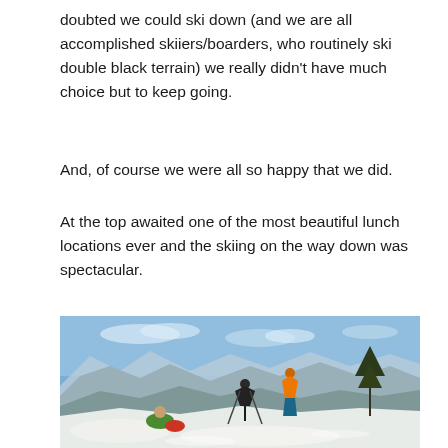doubted we could ski down (and we are all accomplished skiiers/boarders, who routinely ski double black terrain) we really didn't have much choice but to keep going.
And, of course we were all so happy that we did.
At the top awaited one of the most beautiful lunch locations ever and the skiing on the way down was spectacular.
[Figure (photo): Skiers and snowboarders resting at a mountain summit with panoramic snowy mountain range views under a blue sky with scattered clouds.]